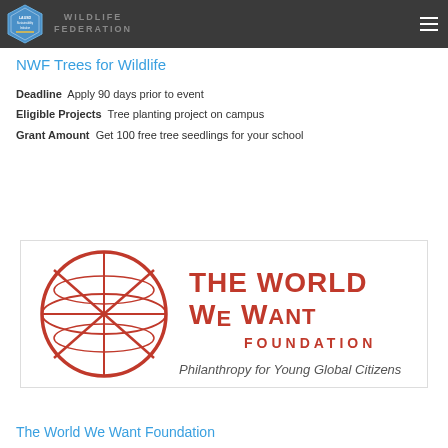LAUSD Sustainability Initiative | WILDLIFE FEDERATION
NWF Trees for Wildlife
Deadline  Apply 90 days prior to event
Eligible Projects  Tree planting project on campus
Grant Amount  Get 100 free tree seedlings for your school
[Figure (logo): The World We Want Foundation logo — red globe with star design, large bold red text 'THE WORLD WE WANT FOUNDATION', tagline 'Philanthropy for Young Global Citizens']
The World We Want Foundation